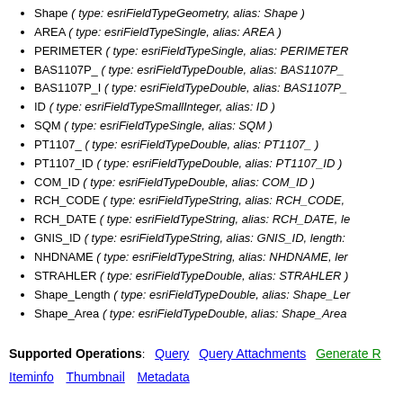Shape ( type: esriFieldTypeGeometry, alias: Shape )
AREA ( type: esriFieldTypeSingle, alias: AREA )
PERIMETER ( type: esriFieldTypeSingle, alias: PERIMETER…
BAS1107P_ ( type: esriFieldTypeDouble, alias: BAS1107P_…
BAS1107P_I ( type: esriFieldTypeDouble, alias: BAS1107P_…
ID ( type: esriFieldTypeSmallInteger, alias: ID )
SQM ( type: esriFieldTypeSingle, alias: SQM )
PT1107_ ( type: esriFieldTypeDouble, alias: PT1107_ )
PT1107_ID ( type: esriFieldTypeDouble, alias: PT1107_ID )
COM_ID ( type: esriFieldTypeDouble, alias: COM_ID )
RCH_CODE ( type: esriFieldTypeString, alias: RCH_CODE,…
RCH_DATE ( type: esriFieldTypeString, alias: RCH_DATE, le…
GNIS_ID ( type: esriFieldTypeString, alias: GNIS_ID, length:…
NHDNAME ( type: esriFieldTypeString, alias: NHDNAME, ler…
STRAHLER ( type: esriFieldTypeDouble, alias: STRAHLER )
Shape_Length ( type: esriFieldTypeDouble, alias: Shape_Ler…
Shape_Area ( type: esriFieldTypeDouble, alias: Shape_Area…
Supported Operations: Query  Query Attachments  Generate R…
Iteminfo  Thumbnail  Metadata